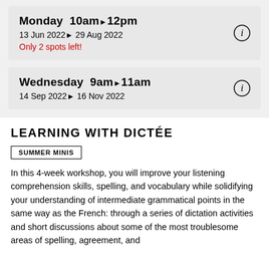Monday  10am▶12pm
13 Jun 2022▶ 29 Aug 2022
Only 2 spots left!
Wednesday  9am▶11am
14 Sep 2022▶ 16 Nov 2022
LEARNING WITH DICTÉE
SUMMER MINIS
In this 4-week workshop, you will improve your listening comprehension skills, spelling, and vocabulary while solidifying your understanding of intermediate grammatical points in the same way as the French: through a series of dictation activities and short discussions about some of the most troublesome areas of spelling, agreement, and